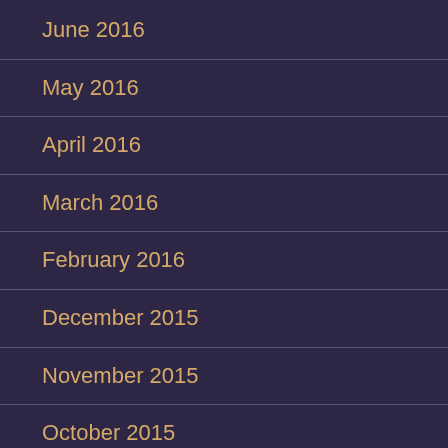June 2016
May 2016
April 2016
March 2016
February 2016
December 2015
November 2015
October 2015